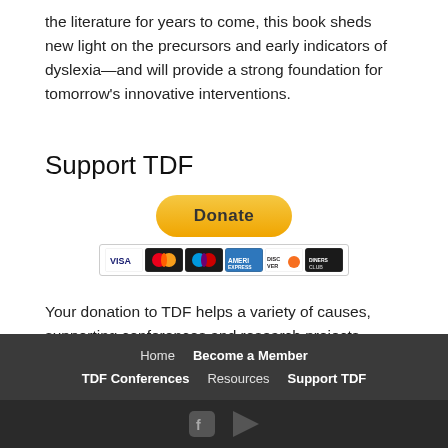the literature for years to come, this book sheds new light on the precursors and early indicators of dyslexia—and will provide a strong foundation for tomorrow's innovative interventions.
Support TDF
[Figure (other): PayPal Donate button (yellow rounded rectangle with bold 'Donate' text) and a row of payment card icons: VISA, Mastercard, Maestro, American Express, Discover, Diners Club]
Your donation to TDF helps a variety of causes, supporting conferences and research projects around the globe…
Home   Become a Member   TDF Conferences   Resources   Support TDF